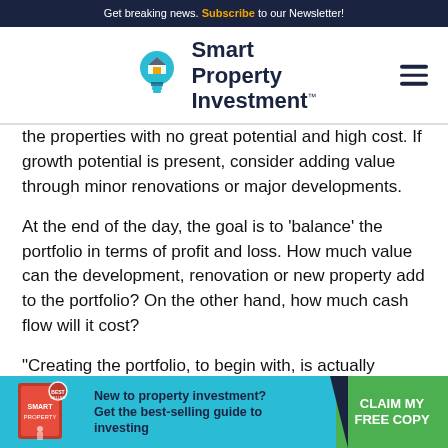Get breaking news. Subscribe to our Newsletter!
[Figure (logo): Smart Property Investment logo with lightbulb icon and hamburger menu]
the properties with no great potential and high cost. If growth potential is present, consider adding value through minor renovations or major developments.
At the end of the day, the goal is to 'balance' the portfolio in terms of profit and loss. How much value can the development, renovation or new property add to the portfolio? On the other hand, how much cash flow will it cost?
"Creating the portfolio, to begin with, is actually relatively simple. It's about controlling the opportunities and giving yourse
[Figure (infographic): Ad banner: New to property investment? Get the best-selling guide to investing. Claim My Free Copy.]